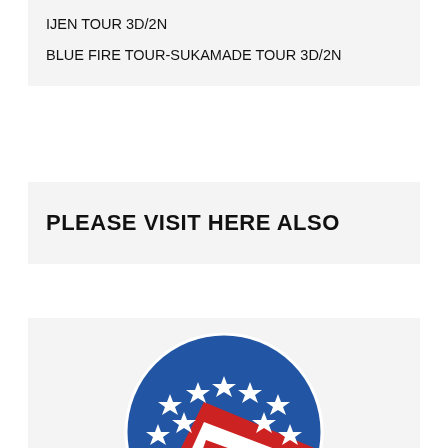IJEN TOUR 3D/2N
BLUE FIRE TOUR-SUKAMADE TOUR 3D/2N
PLEASE VISIT HERE ALSO
[Figure (logo): Circular logo with blue background, white stars, and red and white diagonal stripe element in center]